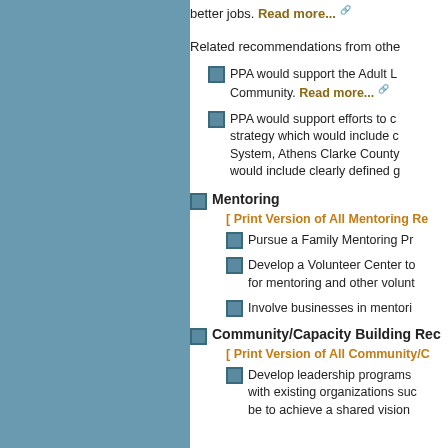better jobs. Read more...
Related recommendations from othe
PPA would support the Adult L... Community. Read more...
PPA would support efforts to c... strategy which would include c... System, Athens Clarke County... would include clearly defined g...
Mentoring
[ Print Version of All Mentoring Re...
Pursue a Family Mentoring Pr...
Develop a Volunteer Center to... for mentoring and other volunt...
Involve businesses in mentori...
Community/Capacity Building Rec...
[ Print Version of All Community/C...
Develop leadership programs... with existing organizations suc... be to achieve a shared vision...